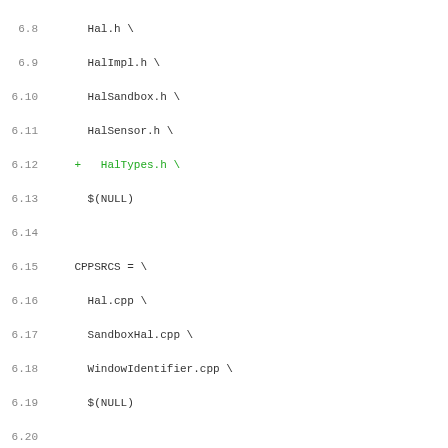Code diff showing lines 6.8 through 6.39 of a Makefile, including CPPSRCS and CFLAGS definitions with additions for HalTypes.h and FallbackLights.cpp.